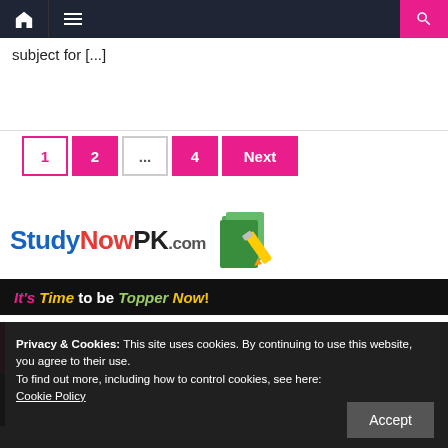Navigation bar with home, menu, and search icons
subject for [...]
1  2  ...  4  Next
[Figure (logo): StudyNowPK.com logo with tagline 'It's Time to be Topper Now!']
Privacy & Cookies: This site uses cookies. By continuing to use this website, you agree to their use.
To find out more, including how to control cookies, see here: Cookie Policy
Accept